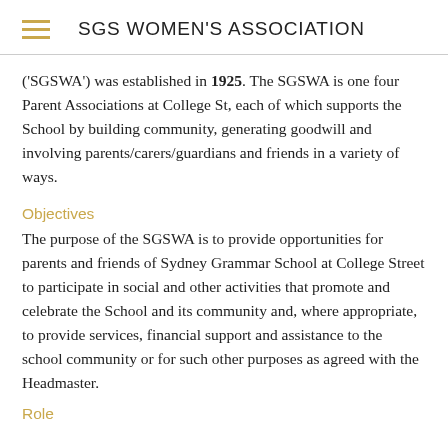SGS WOMEN'S ASSOCIATION
('SGSWA') was established in 1925. The SGSWA is one four Parent Associations at College St, each of which supports the School by building community, generating goodwill and involving parents/carers/guardians and friends in a variety of ways.
Objectives
The purpose of the SGSWA is to provide opportunities for parents and friends of Sydney Grammar School at College Street to participate in social and other activities that promote and celebrate the School and its community and, where appropriate, to provide services, financial support and assistance to the school community or for such other purposes as agreed with the Headmaster.
Role